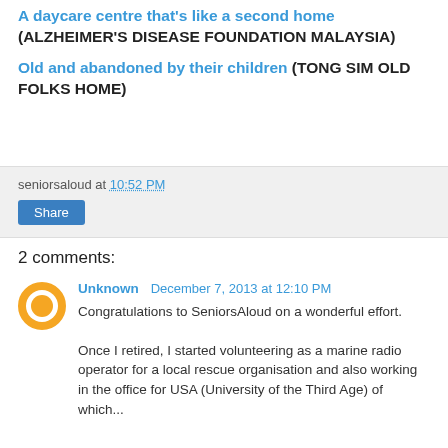A daycare centre that's like a second home (ALZHEIMER'S DISEASE FOUNDATION MALAYSIA)
Old and abandoned by their children (TONG SIM OLD FOLKS HOME)
seniorsaloud at 10:52 PM
Share
2 comments:
Unknown December 7, 2013 at 12:10 PM
Congratulations to SeniorsAloud on a wonderful effort.

Once I retired, I started volunteering as a marine radio operator for a local rescue organisation and also working in the office for USA (University of the Third Age) of which...